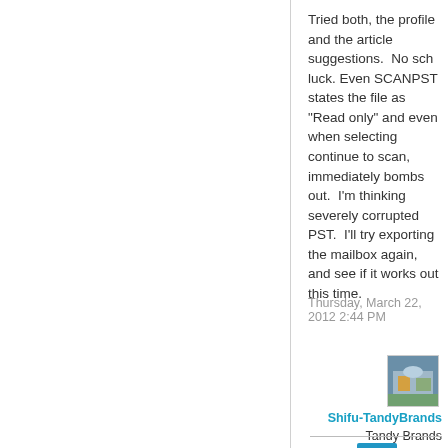Tried both, the profile and the article suggestions.  No sch luck.  Even SCANPST states the file as "Read only" and even when selecting continue to scan, immediately bombs out.  I'm thinking severely corrupted PST.  I'll try exporting the mailbox again, and see if it works out this time.
Thursday, March 22, 2012 2:44 PM
[Figure (photo): User avatar thumbnail for Shifu-TandyBrands showing a small outdoor scene]
Shifu-TandyBrands Tandy Brands 435 Points
[Figure (other): Blue checkbox/checkmark button icon]
[Figure (other): Grey upvote arrow icon]